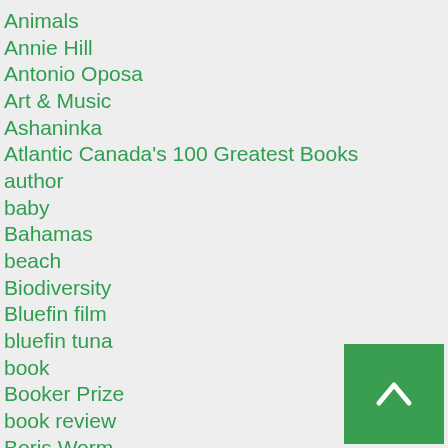Animals
Annie Hill
Antonio Oposa
Art & Music
Ashaninka
Atlantic Canada's 100 Greatest Books
author
baby
Bahamas
beach
Biodiversity
Bluefin film
bluefin tuna
book
Booker Prize
book review
Boris Worm
boys
Cape Breton Post
Cape Breton University
Catherine O'Brien
Charles D...